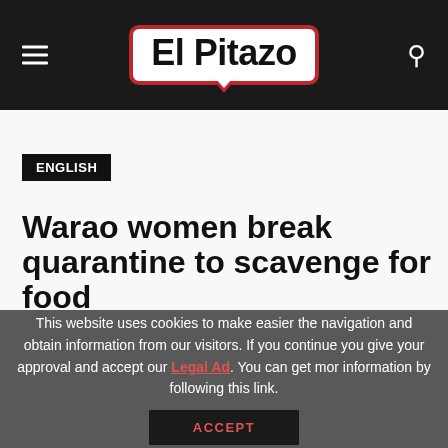El Pitazo
ENGLISH
Warao women break quarantine to scavenge for food
This website uses cookies to make easier the navigation and obtain information from our visitors. If you continue you give your approval and accept our Legal Ad. You can get mor information by following this link.